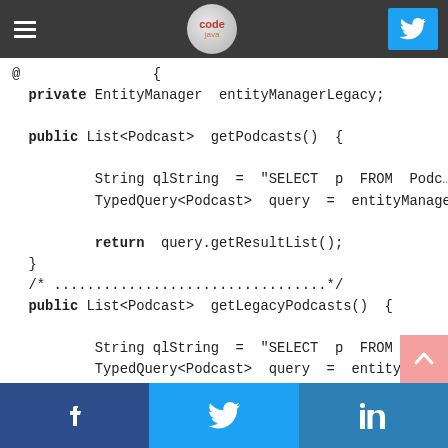Navigation bar with hamburger menu, code logo, and Twitter button
[Figure (screenshot): Code blog website header with hamburger icon, circular code logo, and blue Twitter share button]
private EntityManager entityManagerLegacy;

public List<Podcast> getPodcasts() {

        String qlString = "SELECT p FROM Podc…
        TypedQuery<Podcast> query = entityManage…

        return query.getResultList();
}
/* .................................*/
public List<Podcast> getLegacyPodcasts() {

        String qlString = "SELECT p FROM Podc…
        TypedQuery<Podcast> query = entityManage…

        return query.getResultList();
}
Facebook | Twitter | LinkedIn social share buttons